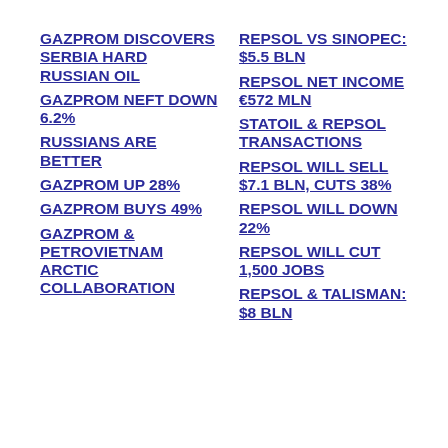GAZPROM DISCOVERS SERBIA HARD RUSSIAN OIL
GAZPROM NEFT DOWN 6.2%
RUSSIANS ARE BETTER
GAZPROM UP 28%
GAZPROM BUYS 49%
GAZPROM & PETROVIETNAM ARCTIC COLLABORATION
REPSOL VS SINOPEC: $5.5 BLN
REPSOL NET INCOME €572 MLN
STATOIL & REPSOL TRANSACTIONS
REPSOL WILL SELL $7.1 BLN, CUTS 38%
REPSOL WILL DOWN 22%
REPSOL WILL CUT 1,500 JOBS
REPSOL & TALISMAN: $8 BLN